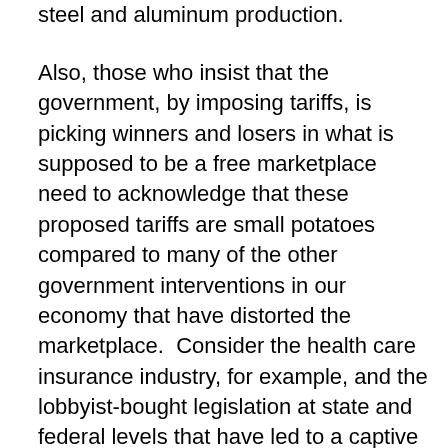steel and aluminum production.
Also, those who insist that the government, by imposing tariffs, is picking winners and losers in what is supposed to be a free marketplace need to acknowledge that these proposed tariffs are small potatoes compared to many of the other government interventions in our economy that have distorted the marketplace.  Consider the health care insurance industry, for example, and the lobbyist-bought legislation at state and federal levels that have led to a captive marketplace.  Consider the telecommunications giants, especially ISPs, cable TV systems, and cell phone companies and the terrible, even predatory, customer “service” they provide because they do not fear new start-ups entering the marketplace in their industries.  Lobbyist-bought legislation and executive branch administrative code regulation at state and federal levels has pretty much